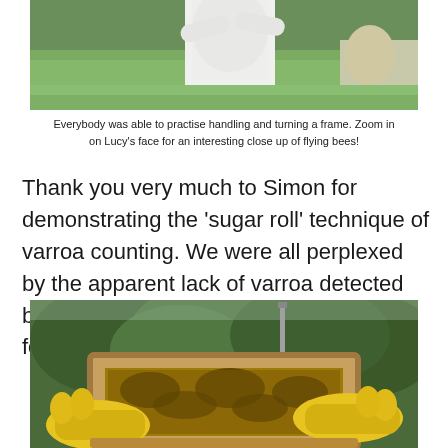[Figure (photo): Person in white beekeeping suit standing on green grass, handling a beehive frame. Another person partially visible on the right.]
Everybody was able to practise handling and turning a frame. Zoom in on Lucy’s face for an interesting close up of flying bees!
Thank you very much to Simon for demonstrating the ‘sugar roll’ technique of varroa counting. We were all perplexed by the apparent lack of varroa detected by the exercise. Only one varroa was found.
[Figure (photo): Person wearing yellow gloves holding a wooden beehive frame covered with bees, with green trees in the background.]